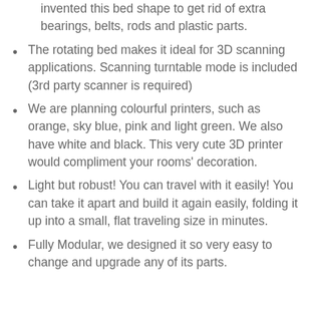invented this bed shape to get rid of extra bearings, belts, rods and plastic parts.
The rotating bed makes it ideal for 3D scanning applications. Scanning turntable mode is included (3rd party scanner is required)
We are planning colourful printers, such as orange, sky blue, pink and light green. We also have white and black. This very cute 3D printer would compliment your rooms' decoration.
Light but robust! You can travel with it easily! You can take it apart and build it again easily, folding it up into a small, flat traveling size in minutes.
Fully Modular, we designed it so very easy to change and upgrade any of its parts.